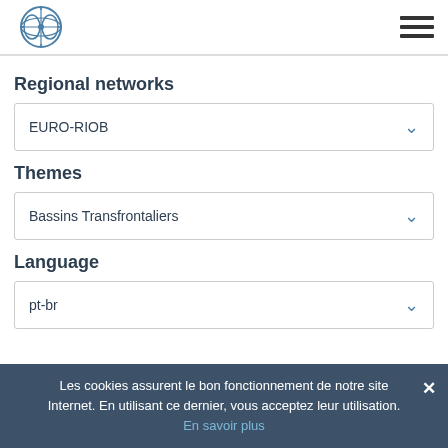[Figure (logo): RIOB circular globe logo in blue]
Regional networks
EURO-RIOB
Themes
Bassins Transfrontaliers
Language
pt-br
Les cookies assurent le bon fonctionnement de notre site Internet. En utilisant ce dernier, vous acceptez leur utilisation. En savoir plus